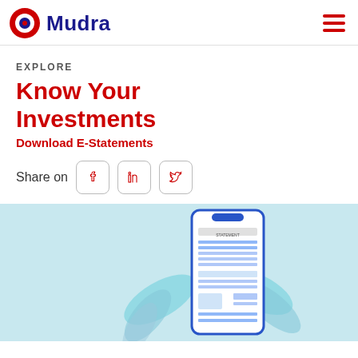Mudra
EXPLORE
Know Your Investments
Download E-Statements
Share on
[Figure (illustration): Smartphone displaying a statement document with decorative leaves/feathers in light blue background]